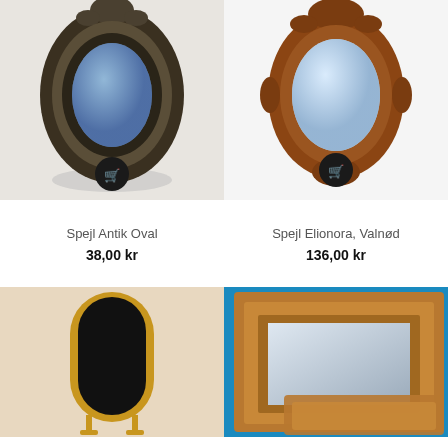[Figure (photo): Ornate antique oval mirror with dark bronze/silver decorative frame, standing on a surface with shadow]
[Figure (photo): Ornate oval mirror with walnut-colored baroque decorative frame, wall-mounted against white background]
Spejl Antik Oval
38,00 kr
Spejl Elionora, Valnød
136,00 kr
[Figure (photo): Tall standing floor mirror with arched top and ornate gold frame on stand]
[Figure (photo): Square decorative mirror with ornate gold/copper baroque frame against blue background]